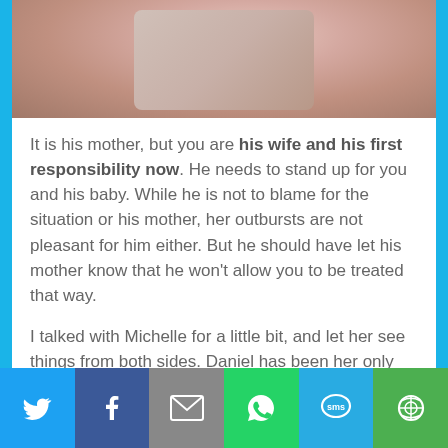[Figure (photo): Partial photo of a person, cropped at the top of the page]
It is his mother, but you are his wife and his first responsibility now. He needs to stand up for you and his baby. While he is not to blame for the situation or his mother, her outbursts are not pleasant for him either. But he should have let his mother know that he won't allow you to be treated that way.
I talked with Michelle for a little bit, and let her see things from both sides. Daniel has been her only son forever and he has always looked up to his mom. All the while growing up, both Jack and Daniel were more-or-less afraid to confront her. She has been speaking her mind freely for years.
[Figure (infographic): Social sharing toolbar with Twitter, Facebook, Email, WhatsApp, SMS, and More buttons]